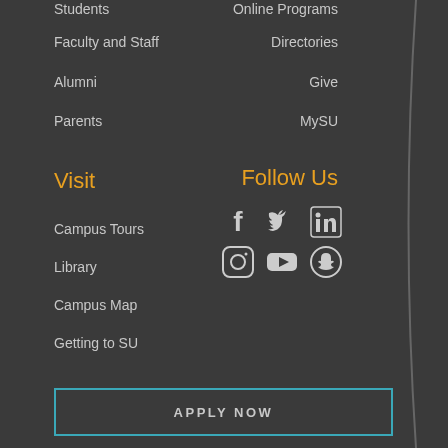Students
Online Programs
Faculty and Staff
Directories
Alumni
Give
Parents
MySU
Visit
Follow Us
[Figure (infographic): Social media icons: Facebook, Twitter, LinkedIn, Instagram, YouTube, Snapchat]
Campus Tours
Library
Campus Map
Getting to SU
APPLY NOW